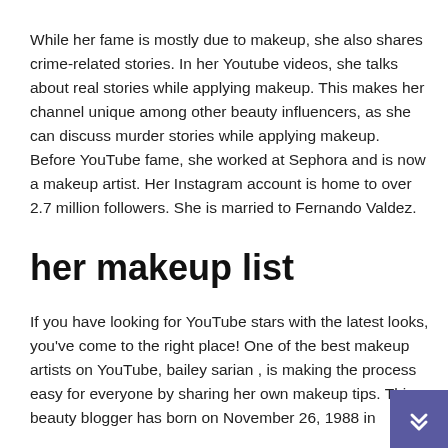While her fame is mostly due to makeup, she also shares crime-related stories. In her Youtube videos, she talks about real stories while applying makeup. This makes her channel unique among other beauty influencers, as she can discuss murder stories while applying makeup. Before YouTube fame, she worked at Sephora and is now a makeup artist. Her Instagram account is home to over 2.7 million followers. She is married to Fernando Valdez.
her makeup list
If you have looking for YouTube stars with the latest looks, you've come to the right place! One of the best makeup artists on YouTube, bailey sarian , is making the process easy for everyone by sharing her own makeup tips. This beauty blogger has born on November 26, 1988 in